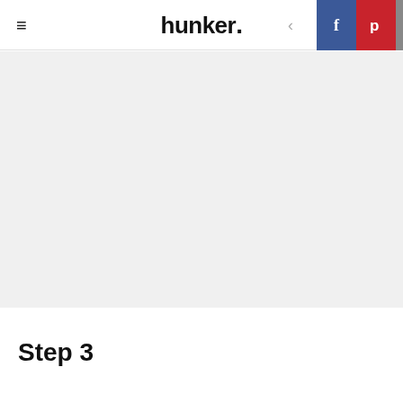hunker
[Figure (photo): Large image area, light gray placeholder background]
Step 3